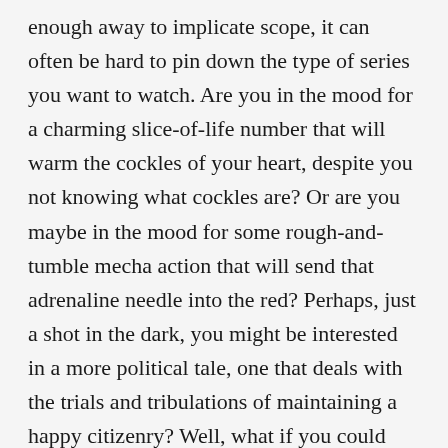enough away to implicate scope, it can often be hard to pin down the type of series you want to watch. Are you in the mood for a charming slice-of-life number that will warm the cockles of your heart, despite you not knowing what cockles are? Or are you maybe in the mood for some rough-and-tumble mecha action that will send that adrenaline needle into the red? Perhaps, just a shot in the dark, you might be interested in a more political tale, one that deals with the trials and tribulations of maintaining a happy citizenry? Well, what if you could have all three at once? Would you combine your interests into one big visual gumbo? And would you be happy to stomach the result?
In the world of content/sombre looking anime girls, Rena Asteria is...unique. In addition to looking roughly seven in age despite being the older sibling of her family, she also happens to be the sister of Yuinshiel Asteria, the Empress of Enastoria. And if that weren't enough, she also happens